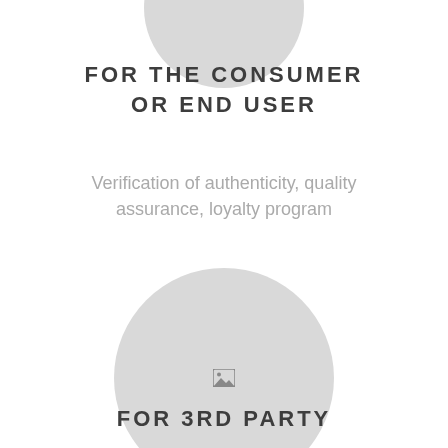[Figure (illustration): Partial grey circle visible at top of page (cropped)]
FOR THE CONSUMER OR END USER
Verification of authenticity, quality assurance, loyalty program
[Figure (illustration): Large grey circle with a small image placeholder icon in the center]
FOR 3RD PARTY